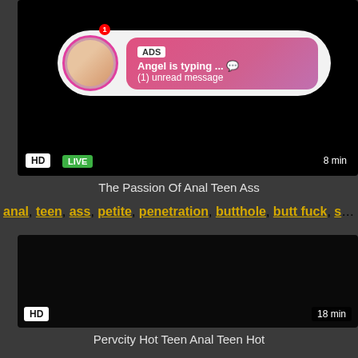[Figure (screenshot): Video thumbnail with ad overlay showing profile picture, LIVE badge, HD badge, and '8 min' duration. Overlay shows 'ADS Angel is typing ... (1) unread message']
The Passion Of Anal Teen Ass
anal, teen, ass, petite, penetration, butthole, butt fuck, str...
[Figure (screenshot): Dark/black video thumbnail with HD badge and '18 min' duration label]
Pervcity Hot Teen Anal Teen Hot